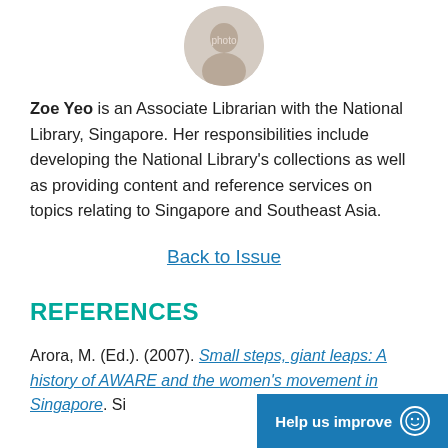[Figure (photo): Circular portrait photo of Zoe Yeo]
Zoe Yeo is an Associate Librarian with the National Library, Singapore. Her responsibilities include developing the National Library's collections as well as providing content and reference services on topics relating to Singapore and Southeast Asia.
Back to Issue
REFERENCES
Arora, M. (Ed.). (2007). Small steps, giant leaps: A history of AWARE and the women's movement in Singapore. Si